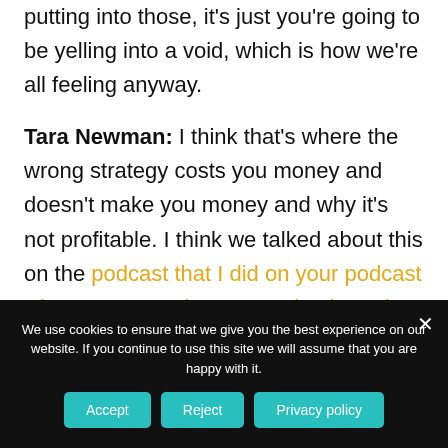putting into those, it's just you're going to be yelling into a void, which is how we're all feeling anyway.
Tara Newman: I think that's where the wrong strategy costs you money and doesn't make you money and why it's not profitable. I think we talked about this on the podcast that I did on your podcast where experts who run service-based businesses are using influencer marketing tactics, and it's the
We use cookies to ensure that we give you the best experience on our website. If you continue to use this site we will assume that you are happy with it.